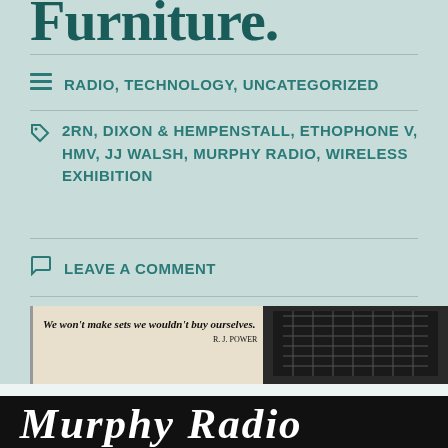Furniture.
RADIO, TECHNOLOGY, UNCATEGORIZED
2RN, DIXON & HEMPENSTALL, ETHOPHONE V, HMV, JJ WALSH, MURPHY RADIO, WIRELESS EXHIBITION
LEAVE A COMMENT
[Figure (photo): Old newspaper advertisement with text: We won't make sets we wouldn't buy ourselves. R. J. POWER]
Privacy & Cookies: This site uses cookies. By continuing to use this website, you agree to their use.
To find out more, including how to control cookies, see here: Cookie Policy
[Figure (photo): Murphy Radio logo in bold italic serif font on black background]